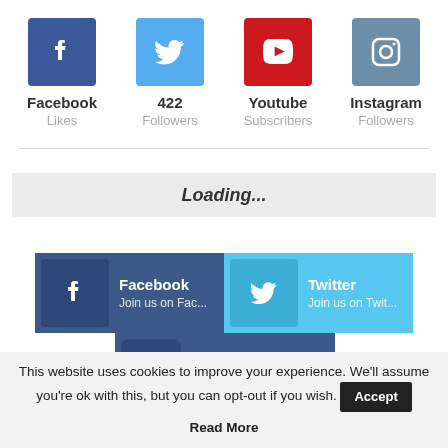[Figure (infographic): Four social media platform icons with counts: Facebook (Likes), 422 Followers (Twitter), Youtube (Subscribers), Instagram (Followers)]
Loading...
[Figure (infographic): Social follow buttons: Facebook - Join us on Fac..., Twitter - Join us on Twit..., Instagram]
This website uses cookies to improve your experience. We'll assume you're ok with this, but you can opt-out if you wish. Accept Read More